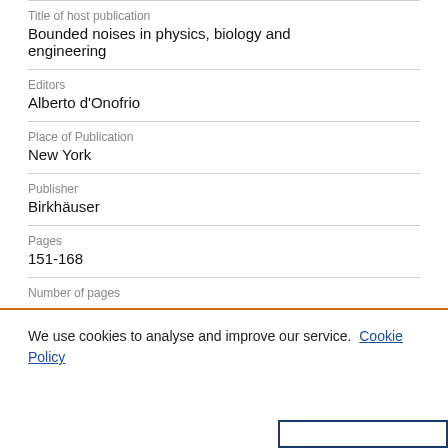Title of host publication
Bounded noises in physics, biology and engineering
Editors
Alberto d'Onofrio
Place of Publication
New York
Publisher
Birkhäuser
Pages
151-168
Number of pages
We use cookies to analyse and improve our service.
Cookie Policy